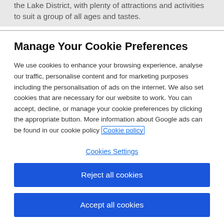the Lake District, with plenty of attractions and activities to suit a group of all ages and tastes.
Manage Your Cookie Preferences
We use cookies to enhance your browsing experience, analyse our traffic, personalise content and for marketing purposes including the personalisation of ads on the internet. We also set cookies that are necessary for our website to work. You can accept, decline, or manage your cookie preferences by clicking the appropriate button. More information about Google ads can be found in our cookie policy Cookie policy
Cookies Settings
Reject all cookies
Accept all cookies